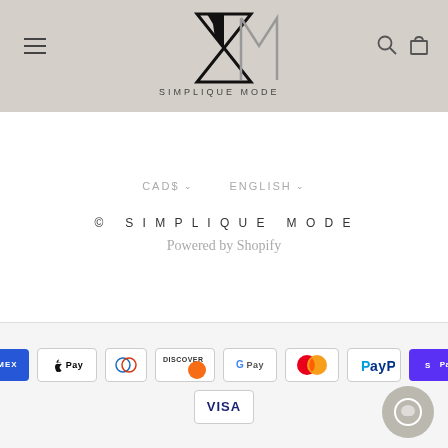[Figure (logo): Simplique Mode logo — geometric hourglass/M letterform in black outline with gray, above the text SIMPLIQUE MODE]
CAD$ ∨   ENGLISH ∨
© SIMPLIQUE MODE
Powered by Shopify
[Figure (infographic): Payment method icons row: American Express (blue), Apple Pay (white/black), Diners Club (white/blue circles), Discover (white/orange), Google Pay (white/colored), Mastercard (white/red-orange circles), PayPal (white/blue), Shop Pay (purple); second row: Visa (white/dark blue)]